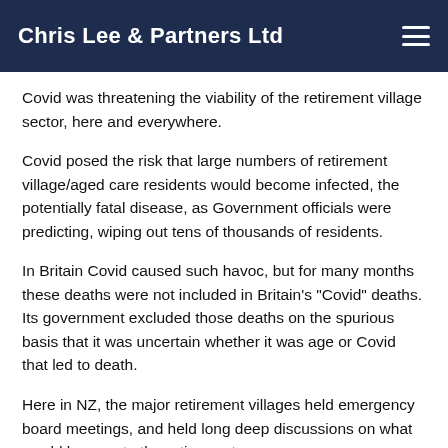Chris Lee & Partners Ltd
Covid was threatening the viability of the retirement village sector, here and everywhere.
Covid posed the risk that large numbers of retirement village/aged care residents would become infected, the potentially fatal disease, as Government officials were predicting, wiping out tens of thousands of residents.
In Britain Covid caused such havoc, but for many months these deaths were not included in Britain's "Covid" deaths. Its government excluded those deaths on the spurious basis that it was uncertain whether it was age or Covid that led to death.
Here in NZ, the major retirement villages held emergency board meetings, and held long deep discussions on what would happen to the retirement